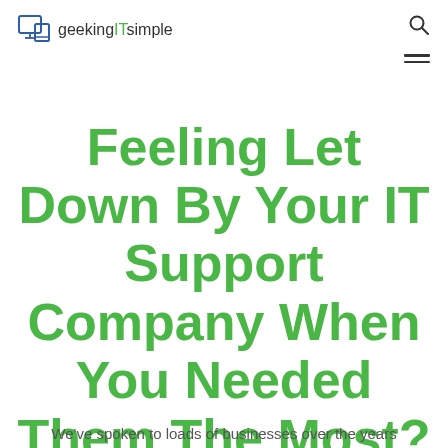geekingITsimple
Feeling Let Down By Your IT Support Company When You Needed Them The Most?
We've spoken to loads of businesses over the years